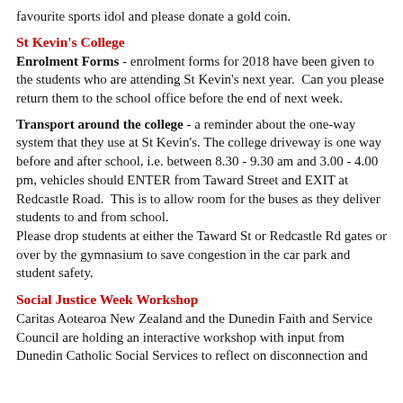favourite sports idol and please donate a gold coin.
St Kevin's College
Enrolment Forms - enrolment forms for 2018 have been given to the students who are attending St Kevin's next year.  Can you please return them to the school office before the end of next week.
Transport around the college - a reminder about the one-way system that they use at St Kevin's. The college driveway is one way before and after school, i.e. between 8.30 - 9.30 am and 3.00 - 4.00 pm, vehicles should ENTER from Taward Street and EXIT at Redcastle Road.  This is to allow room for the buses as they deliver students to and from school.
Please drop students at either the Taward St or Redcastle Rd gates or over by the gymnasium to save congestion in the car park and student safety.
Social Justice Week Workshop
Caritas Aotearoa New Zealand and the Dunedin Faith and Service Council are holding an interactive workshop with input from Dunedin Catholic Social Services to reflect on disconnection and